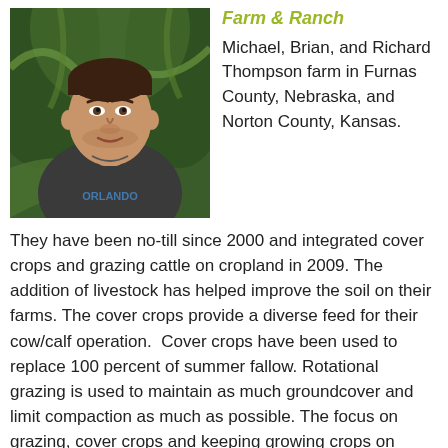Farm & Ranch
[Figure (photo): A man wearing a dark t-shirt with 'Orlando' text standing in front of green corn crops, from the chest up, smiling slightly.]
Michael, Brian, and Richard Thompson farm in Furnas County, Nebraska, and Norton County, Kansas.
They have been no-till since 2000 and integrated cover crops and grazing cattle on cropland in 2009. The addition of livestock has helped improve the soil on their farms. The cover crops provide a diverse feed for their cow/calf operation.  Cover crops have been used to replace 100 percent of summer fallow. Rotational grazing is used to maintain as much groundcover and limit compaction as much as possible. The focus on grazing, cover crops and keeping growing crops on farmland have